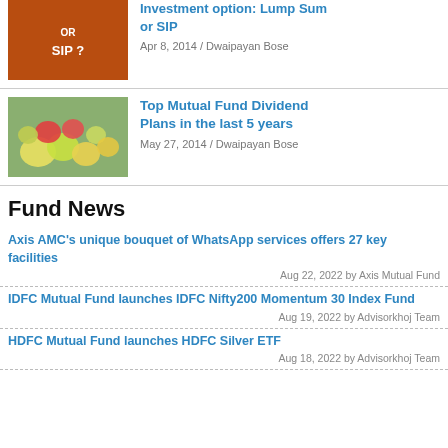[Figure (photo): Orange textured background with text 'OR SIP ?']
Investment option: Lump Sum or SIP
Apr 8, 2014 / Dwaipayan Bose
[Figure (photo): Photo of mixed fruits including strawberries and grapes on a plate]
Top Mutual Fund Dividend Plans in the last 5 years
May 27, 2014 / Dwaipayan Bose
Fund News
Axis AMC's unique bouquet of WhatsApp services offers 27 key facilities
Aug 22, 2022 by Axis Mutual Fund
IDFC Mutual Fund launches IDFC Nifty200 Momentum 30 Index Fund
Aug 19, 2022 by Advisorkhoj Team
HDFC Mutual Fund launches HDFC Silver ETF
Aug 18, 2022 by Advisorkhoj Team